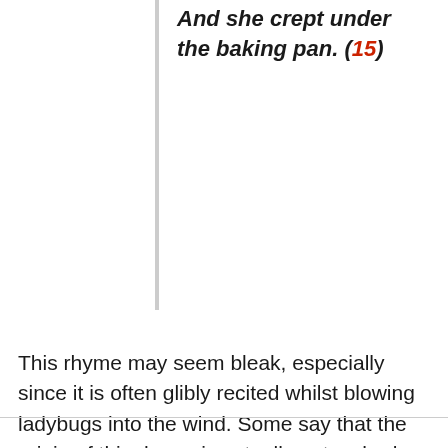And she crept under the baking pan. (15)
This rhyme may seem bleak, especially since it is often glibly recited whilst blowing ladybugs into the wind. Some say that the origin of this rhyme is actually not so bad as it seems. Farmers, out of appreciation for the ladybug's helpfulness, may have recited this song as a warning to the ladybugs before setting the remains of the harvest on fire to prepare for the next sowing season.